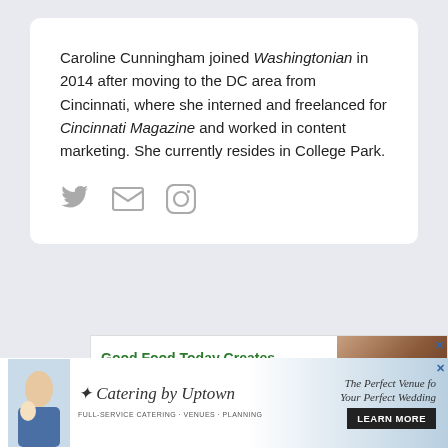Caroline Cunningham joined Washingtonian in 2014 after moving to the DC area from Cincinnati, where she interned and freelanced for Cincinnati Magazine and worked in content marketing. She currently resides in College Park.
[Figure (infographic): Three social media icons: Twitter bird, envelope/email, and Instagram camera circle, all in gray]
[Figure (infographic): Partial advertisement showing top of a person's head and green text reading 'Good Food Today Creates']
[Figure (infographic): Advertisement for Catering by Uptown. Shows couple with champagne glasses, italic script text 'Catering by Uptown', tagline 'The Perfect Venue fo Your Perfect Wedding', black LEARN MORE button, and X close button]